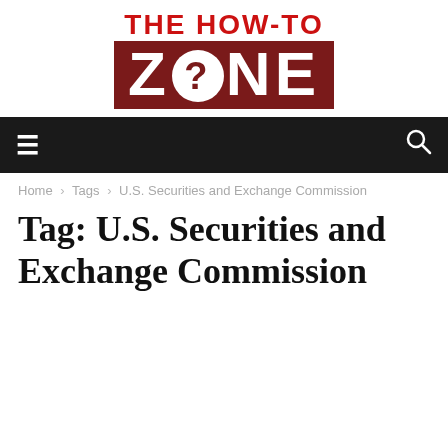[Figure (logo): The How-To Zone logo: red text 'THE HOW-TO' on top, dark red block with 'ZONE' text where O is replaced by a white circle with question mark]
≡  [navigation bar]  🔍
Home › Tags › U.S. Securities and Exchange Commission
Tag: U.S. Securities and Exchange Commission